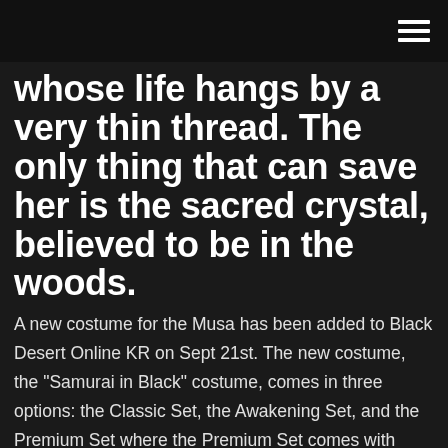whose life hangs by a very thin thread. The only thing that can save her is the sacred crystal, believed to be in the woods.
A new costume for the Musa has been added to Black Desert Online KR on Sept 21st. The new costume, the "Samurai in Black" costume, comes in three options: the Classic Set, the Awakening Set, and the Premium Set where the Premium Set comes with skins for both pre-Awakening and Awakening weapons. Musa | Black Desert Wiki | FANDOM powered by Wikia Musas fight with oriental-style martial arts and with the Blade and Horn Bow. Musas are specialists in 1-on-1 showdowns, since their fast and